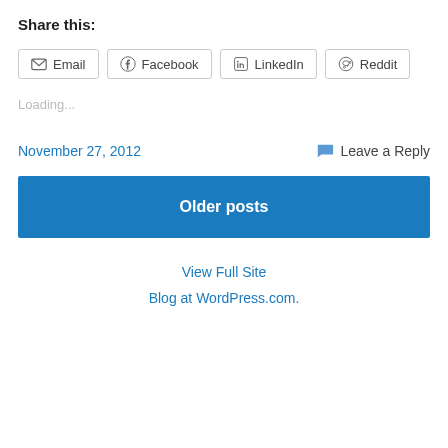Share this:
Email  Facebook  LinkedIn  Reddit
Loading...
November 27, 2012
Leave a Reply
Older posts
View Full Site
Blog at WordPress.com.